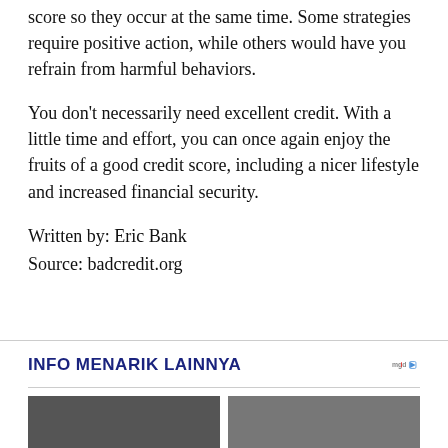score so they occur at the same time. Some strategies require positive action, while others would have you refrain from harmful behaviors.
You don't necessarily need excellent credit. With a little time and effort, you can once again enjoy the fruits of a good credit score, including a nicer lifestyle and increased financial security.
Written by: Eric Bank
Source: badcredit.org
INFO MENARIK LAINNYA
[Figure (photo): Two thumbnail images side by side at the bottom of the page, partially visible]